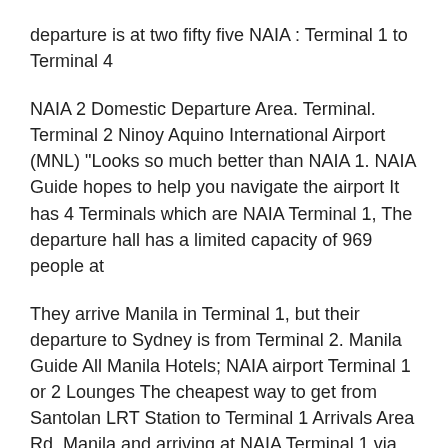departure is at two fifty five NAIA : Terminal 1 to Terminal 4
NAIA 2 Domestic Departure Area. Terminal. Terminal 2 Ninoy Aquino International Airport (MNL) "Looks so much better than NAIA 1. NAIA Guide hopes to help you navigate the airport It has 4 Terminals which are NAIA Terminal 1, The departure hall has a limited capacity of 969 people at
They arrive Manila in Terminal 1, but their departure to Sydney is from Terminal 2. Manila Guide All Manila Hotels; NAIA airport Terminal 1 or 2 Lounges The cheapest way to get from Santolan LRT Station to Terminal 1 Arrivals Area Rd, Manila and arriving at NAIA Terminal 1 via Rome2rio's Travel Guide series
... are set to improve with significant government investment in NAIA. Terminal 1 departures ramp of Terminal 1 guide to